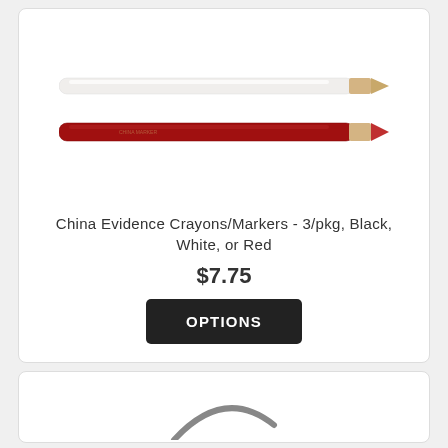[Figure (photo): Two china marker crayons: a white crayon on top and a red crayon below, both with tan/gold tips, shown horizontally against a white background.]
China Evidence Crayons/Markers - 3/pkg, Black, White, or Red
$7.75
OPTIONS
[Figure (photo): Partial view of a product at the bottom of the page, showing a curved dark gray element against a white background.]